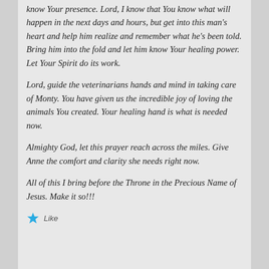know Your presence. Lord, I know that You know what will happen in the next days and hours, but get into this man's heart and help him realize and remember what he's been told. Bring him into the fold and let him know Your healing power. Let Your Spirit do its work.
Lord, guide the veterinarians hands and mind in taking care of Monty. You have given us the incredible joy of loving the animals You created. Your healing hand is what is needed now.
Almighty God, let this prayer reach across the miles. Give Anne the comfort and clarity she needs right now.
All of this I bring before the Throne in the Precious Name of Jesus. Make it so!!!
Like